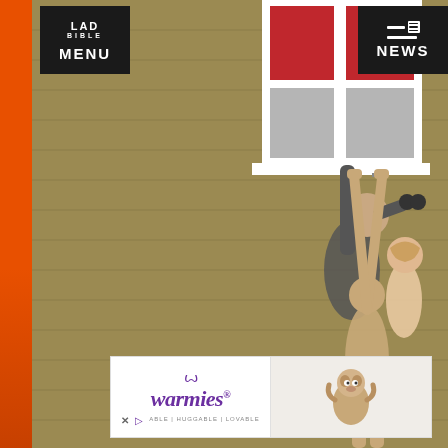[Figure (photo): Banksy street art on a sandy-brown brick wall showing a naked man hanging from a window ledge while a man in a suit looks out the window with binoculars next to a woman in lingerie. The wall art is painted in black, white, and grey on a tan/khaki coloured wall. Window has white frame with red curtains visible inside.]
[Figure (logo): LAD Bible logo in top-left with MENU text below on dark background]
[Figure (logo): NEWS button with hamburger icon in top-right on dark background]
[Figure (other): Warmies advertisement banner at the bottom with purple Warmies logo on left and a plush sloth toy on the right side]